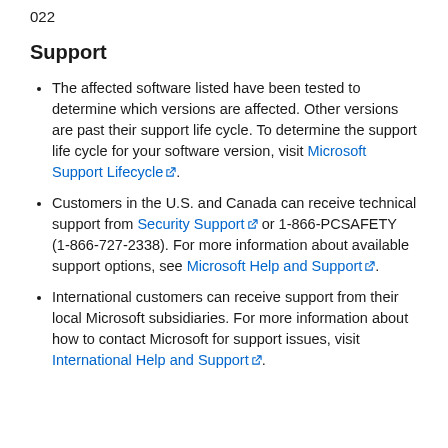022
Support
The affected software listed have been tested to determine which versions are affected. Other versions are past their support life cycle. To determine the support life cycle for your software version, visit Microsoft Support Lifecycle.
Customers in the U.S. and Canada can receive technical support from Security Support or 1-866-PCSAFETY (1-866-727-2338). For more information about available support options, see Microsoft Help and Support.
International customers can receive support from their local Microsoft subsidiaries. For more information about how to contact Microsoft for support issues, visit International Help and Support.